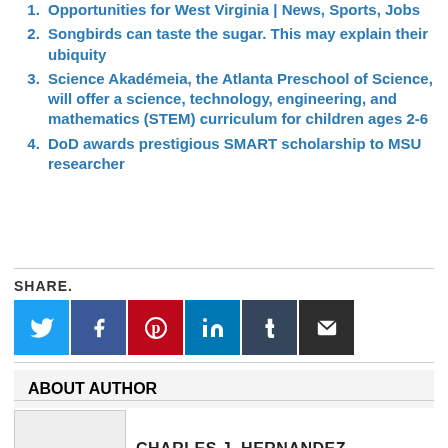Opportunities for West Virginia | News, Sports, Jobs
Songbirds can taste the sugar. This may explain their ubiquity
Science Akadémeia, the Atlanta Preschool of Science, will offer a science, technology, engineering, and mathematics (STEM) curriculum for children ages 2-6
DoD awards prestigious SMART scholarship to MSU researcher
SHARE.
ABOUT AUTHOR
CHARLES J. HERNANDEZ